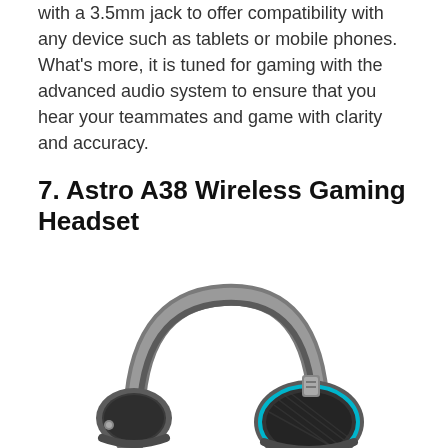with a 3.5mm jack to offer compatibility with any device such as tablets or mobile phones. What's more, it is tuned for gaming with the advanced audio system to ensure that you hear your teammates and game with clarity and accuracy.
7. Astro A38 Wireless Gaming Headset
[Figure (photo): Photo of the Astro A38 Wireless Gaming Headset — a gray over-ear headset with teal/blue accent trim around the ear cups, shown at a slight angle against a white background.]